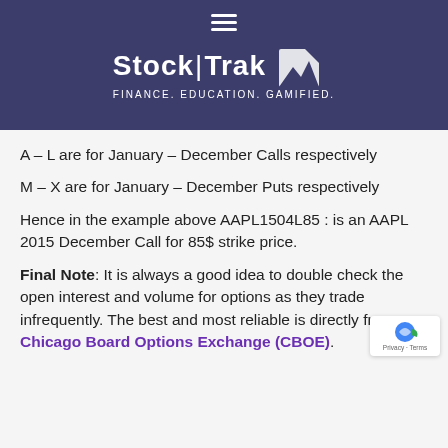[Figure (logo): StockTrak logo with text FINANCE. EDUCATION. GAMIFIED. on dark purple background with hamburger menu icon]
A – L are for January – December Calls respectively
M – X are for January – December Puts respectively
Hence in the example above AAPL1504L85 : is an AAPL 2015 December Call for 85$ strike price.
Final Note: It is always a good idea to double check the open interest and volume for options as they trade infrequently. The best and most reliable is directly from Chicago Board Options Exchange (CBOE).